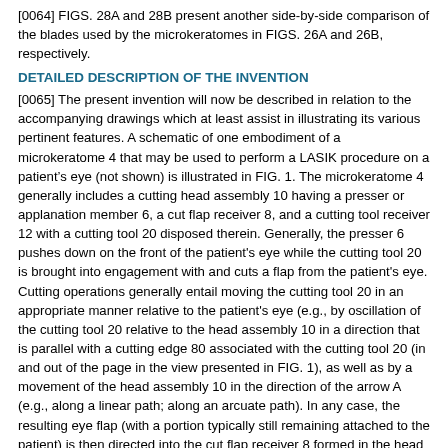[0064] FIGS. 28A and 28B present another side-by-side comparison of the blades used by the microkeratomes in FIGS. 26A and 26B, respectively.
DETAILED DESCRIPTION OF THE INVENTION
[0065] The present invention will now be described in relation to the accompanying drawings which at least assist in illustrating its various pertinent features. A schematic of one embodiment of a microkeratome 4 that may be used to perform a LASIK procedure on a patient's eye (not shown) is illustrated in FIG. 1. The microkeratome 4 generally includes a cutting head assembly 10 having a presser or applanation member 6, a cut flap receiver 8, and a cutting tool receiver 12 with a cutting tool 20 disposed therein. Generally, the presser 6 pushes down on the front of the patient's eye while the cutting tool 20 is brought into engagement with and cuts a flap from the patient's eye. Cutting operations generally entail moving the cutting tool 20 in an appropriate manner relative to the patient's eye (e.g., by oscillation of the cutting tool 20 relative to the head assembly 10 in a direction that is parallel with a cutting edge 80 associated with the cutting tool 20 (in and out of the page in the view presented in FIG. 1), as well as by a movement of the head assembly 10 in the direction of the arrow A (e.g., along a linear path; along an arcuate path). In any case, the resulting eye flap (with a portion typically still remaining attached to the patient) is then directed into the cut flap receiver 8 formed in the head assembly 10 of the microkeratome 4.